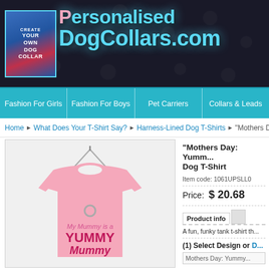[Figure (logo): PersonalisedDogCollars.com website header with logo and site name in cyan/pink text on dark background]
Fashion For Girls | Fashion For Boys | Pet Carriers | Collars & Leads
Home > What Does Your T-Shirt Say? > Harness-Lined Dog T-Shirts > "Mothers D...
[Figure (photo): Pink dog tank t-shirt hanging on a hanger with text 'My Mummy is a YUMMY Mummy' printed on it]
"Mothers Day: Yumm... Dog T-Shirt
Item code: 1061UPSLL0
Price:   $ 20.68
Product info
A fun, funky tank t-shirt th...
(1) Select Design or D...
Mothers Day: Yummy...